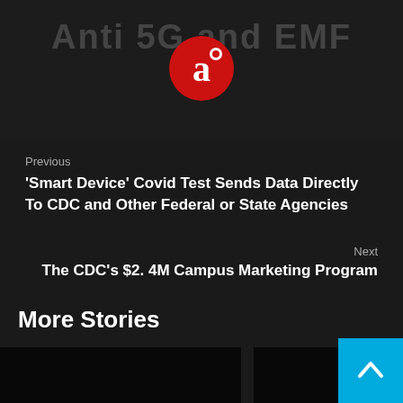Anti 5G and EMF
[Figure (logo): Red circular logo with white letter 'a' and small white circle inside]
Previous
‘Smart Device’ Covid Test Sends Data Directly To CDC and Other Federal or State Agencies
Next
The CDC’s $2. 4M Campus Marketing Program
More Stories